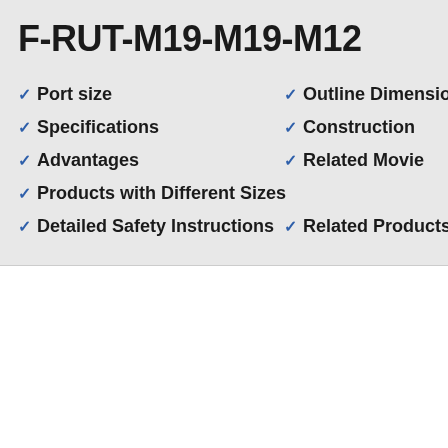F-RUT-M19-M19-M12
Port size
Outline Dimensional Drawing
Specifications
Construction
Advantages
Related Movie
Products with Different Sizes
Detailed Safety Instructions
Related Products